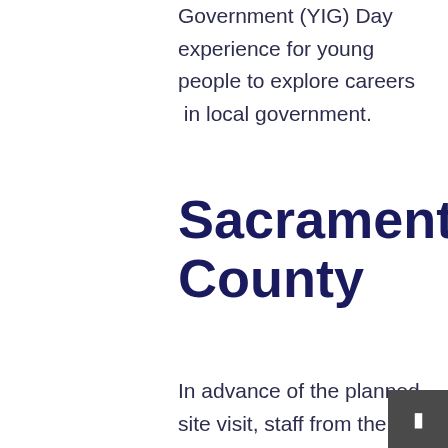Government (YIG) Day experience for young people to explore careers in local government.
Sacramento County
In advance of the planned site visit, staff from the County of Sacramento's Human Resources Department and the Institute for Local Government met with students and teachers to talk about the basics of local government, careers in public service and connected their interests to jobs within cities, counties and special districts.